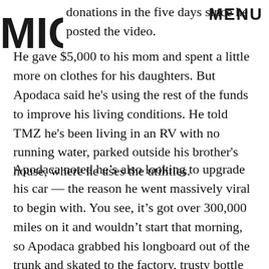MIC | MENU
donations in the five days since he posted the video. He gave $5,000 to his mom and spent a little more on clothes for his daughters. But Apodaca said he's using the rest of the funds to improve his living conditions. He told TMZ he's been living in an RV with no running water, parked outside his brother's house, where he uses the utilities.
Apodaca noted he's also looking to upgrade his car — the reason he went massively viral to begin with. You see, it's got over 300,000 miles on it and wouldn't start that morning, so Apodaca grabbed his longboard out of the trunk and skated to the factory, trusty bottle of juice in hand. He explained there's a picturesque exit ramp off the highway, and he thought